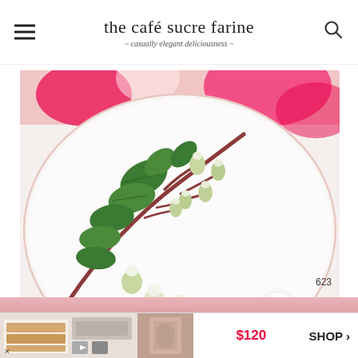the café sucre farine — casually elegant deliciousness
[Figure (photo): Close-up of a sprig with small white flower buds and green leaves on a white plate, with pink floral fabric in the background. Heart/like button showing 623 and a magnify button overlay on the right side.]
[Figure (photo): Advertisement banner showing food images on left, a product image on right, $120 price in red, and SHOP button with arrow.]